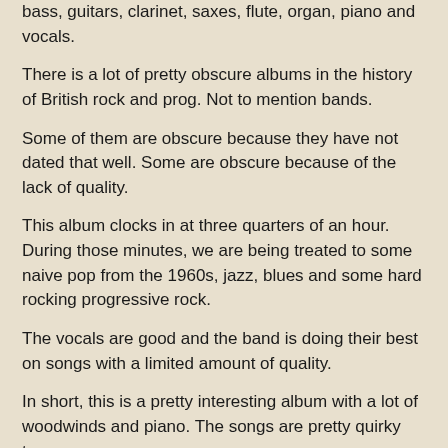bass, guitars, clarinet, saxes, flute, organ, piano and vocals.
There is a lot of pretty obscure albums in the history of British rock and prog. Not to mention bands.
Some of them are obscure because they have not dated that well. Some are obscure because of the lack of quality.
This album clocks in at three quarters of an hour. During those minutes, we are being treated to some naive pop from the 1960s, jazz, blues and some hard rocking progressive rock.
The vocals are good and the band is doing their best on songs with a limited amount of quality.
In short, this is a pretty interesting album with a lot of woodwinds and piano. The songs are pretty quirky too.
But the quality is not there and this album is just a decent, although a pretty interesting album with it's own style.
Check it out if you want obscure albums from the early 1970s.